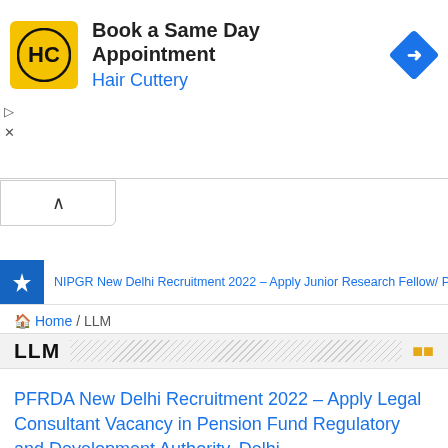[Figure (screenshot): Advertisement banner for Hair Cuttery: Book a Same Day Appointment. Shows HC logo on yellow background, text in black and blue, and a blue diamond navigation arrow icon.]
Home / LLM
LLM
PFRDA New Delhi Recruitment 2022 – Apply Legal Consultant Vacancy in Pension Fund Regulatory and Development Authority, Delhi